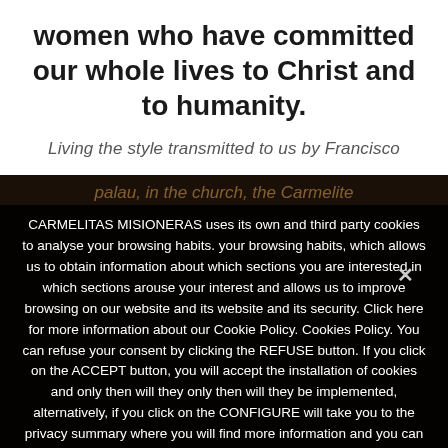women who have committed our whole lives to Christ and to humanity.
Living the style transmitted to us by Francisco
palau, in the church, the Carmelite
CARMELITAS MISIONERAS uses its own and third party cookies to analyse your browsing habits. your browsing habits, which allows us to obtain information about which sections you are interested in which sections arouse your interest and allows us to improve browsing on our website and its website and its security. Click here for more information about our Cookie Policy. Cookies Policy. You can refuse your consent by clicking the REFUSE button. If you click on the ACCEPT button, you will accept the installation of cookies and only then will they only then will they be implemented, alternatively, if you click on the CONFIGURE will take you to the privacy summary where you will find more information and you can configure or disable cookies at any time. at any time. This banner will remain active until you execute one of the following options options Cookie Policy
EN
Accept
Reject